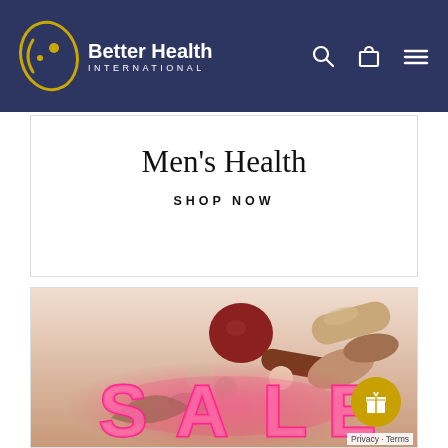[Figure (logo): Better Health International logo — oval swoosh graphic in gold and blue, white text 'Better Health INTERNATIONAL']
[Figure (screenshot): Website header navigation bar with dark navy background showing search icon, shopping bag icon, and hamburger menu icon]
Men's Health
SHOP NOW
[Figure (photo): SALE banner image with neon pink 'SALE' lettering overlaid on a background of various health supplement pills, tablets, and capsules in warm colors]
Privacy · Terms